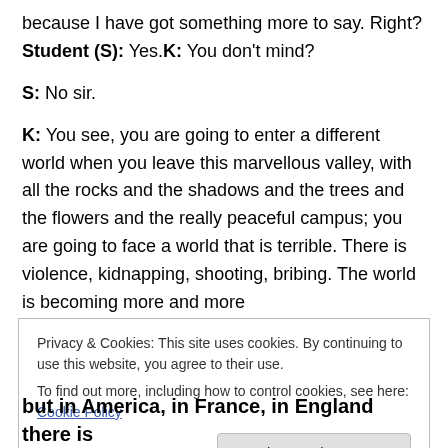because I have got something more to say. Right?
Student (S): Yes.K: You don't mind?
S: No sir.
K: You see, you are going to enter a different world when you leave this marvellous valley, with all the rocks and the shadows and the trees and the flowers and the really peaceful campus; you are going to face a world that is terrible. There is violence, kidnapping, shooting, bribing. The world is becoming more and more
Privacy & Cookies: This site uses cookies. By continuing to use this website, you agree to their use.
To find out more, including how to control cookies, see here: Cookie Policy
but in America, in France, in England there is